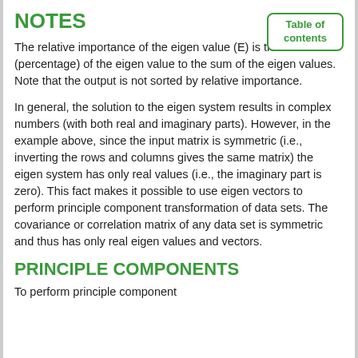NOTES
The relative importance of the eigen value (E) is the ratio (percentage) of the eigen value to the sum of the eigen values. Note that the output is not sorted by relative importance.
In general, the solution to the eigen system results in complex numbers (with both real and imaginary parts). However, in the example above, since the input matrix is symmetric (i.e., inverting the rows and columns gives the same matrix) the eigen system has only real values (i.e., the imaginary part is zero). This fact makes it possible to use eigen vectors to perform principle component transformation of data sets. The covariance or correlation matrix of any data set is symmetric and thus has only real eigen values and vectors.
PRINCIPLE COMPONENTS
To perform principle component